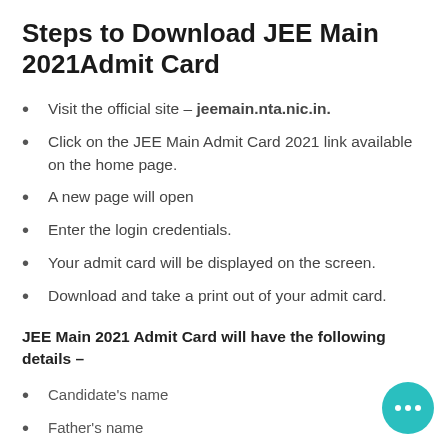Steps to Download JEE Main 2021Admit Card
Visit the official site – jeemain.nta.nic.in.
Click on the JEE Main Admit Card 2021 link available on the home page.
A new page will open
Enter the login credentials.
Your admit card will be displayed on the screen.
Download and take a print out of your admit card.
JEE Main 2021 Admit Card will have the following details –
Candidate's name
Father's name
Date of birth
Gender
Category